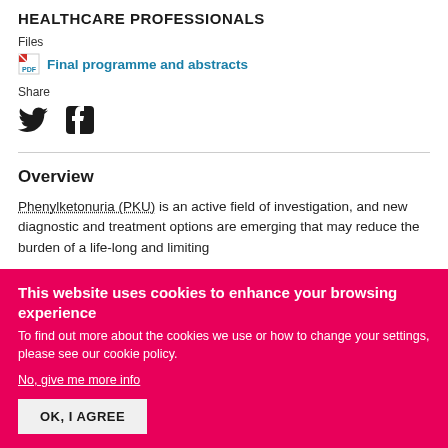HEALTHCARE PROFESSIONALS
Files
Final programme and abstracts
Share
[Figure (other): Twitter and Facebook social media icons]
Overview
Phenylketonuria (PKU) is an active field of investigation, and new diagnostic and treatment options are emerging that may reduce the burden of a life-long and limiting
This website uses cookies to enhance your browsing experience
To find out more about the cookies we use or how to change your settings, please see our cookie policy.
No, give me more info
OK, I AGREE